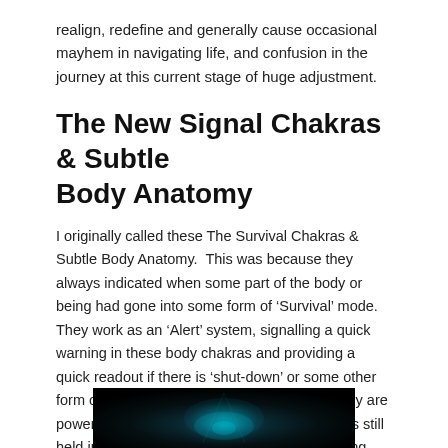realign, redefine and generally cause occasional mayhem in navigating life, and confusion in the journey at this current stage of huge adjustment.
The New Signal Chakras & Subtle Body Anatomy
I originally called these The Survival Chakras & Subtle Body Anatomy.  This was because they always indicated when some part of the body or being had gone into some form of 'Survival' mode.  They work as an 'Alert' system, signalling a quick  warning in these body chakras and providing a quick readout if there is 'shut-down' or some other form of overwhelm of energy is operating.  They are powerful indicators of where shock or trauma is still held in the deepest layers of the body and Being.  Even something as basic as being in present time is so easily tested with this system by locating a single point on the body!
[Figure (photo): Dark image with teal/cyan glowing light in center, possibly depicting subtle body energy or chakra visualization against a black background]